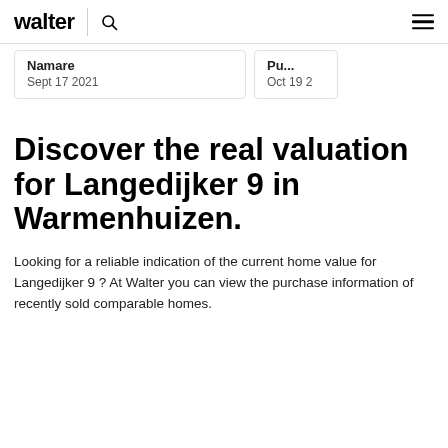walter
Namare
Sept 17 2021
Pu...
Oct 19 2...
Discover the real valuation for Langedijker 9 in Warmenhuizen.
Looking for a reliable indication of the current home value for Langedijker 9 ? At Walter you can view the purchase information of recently sold comparable homes.